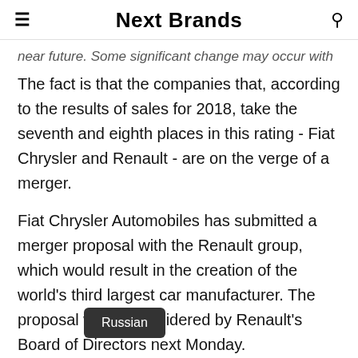Next Brands
near future. Some significant change may occur with
The fact is that the companies that, according to the results of sales for 2018, take the seventh and eighth places in this rating - Fiat Chrysler and Renault - are on the verge of a merger.
Fiat Chrysler Automobiles has submitted a merger proposal with the Renault group, which would result in the creation of the world's third largest car manufacturer. The proposal will be considered by Renault's Board of Directors next Monday. According to the proposal, the newly formed group of companies will be owned by the shareholders of
Russian